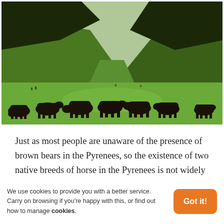[Figure (photo): A herd of dark brown/black horses grazing on a bright green mountain meadow in the Pyrenees, with dense conifer forest on the hillsides in the background.]
Just as most people are unaware of the presence of brown bears in the Pyrenees, so the existence of two native breeds of horse in the Pyrenees is not widely
We use cookies to provide you with a better service. Carry on browsing if you're happy with this, or find out how to manage cookies.